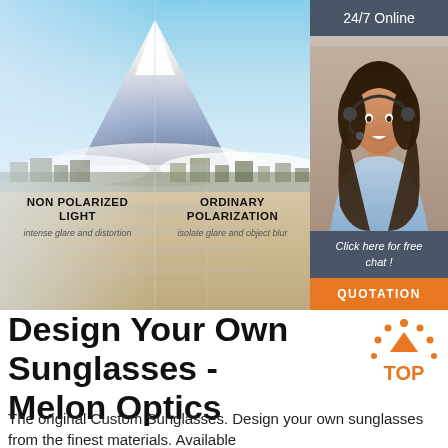[Figure (photo): Composite landscape image showing Mount Fuji with lake reflection, split into panels labeled Non Polarized Light and Ordinary Polarization, with a 24/7 Online customer service panel on the right showing an agent with headset and a QUOTATION button]
Design Your Own Sunglasses - Melon Optics
The original Custom Sunglasses. Design your own sunglasses from the finest materials. Available